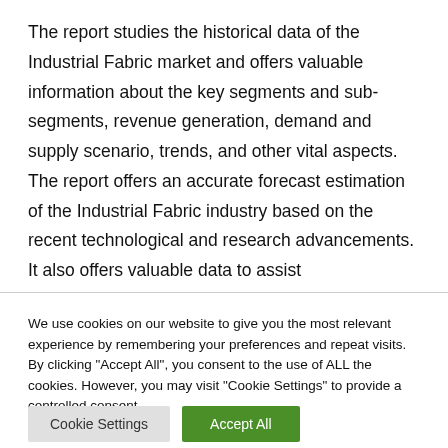The report studies the historical data of the Industrial Fabric market and offers valuable information about the key segments and sub-segments, revenue generation, demand and supply scenario, trends, and other vital aspects. The report offers an accurate forecast estimation of the Industrial Fabric industry based on the recent technological and research advancements. It also offers valuable data to assist
We use cookies on our website to give you the most relevant experience by remembering your preferences and repeat visits. By clicking "Accept All", you consent to the use of ALL the cookies. However, you may visit "Cookie Settings" to provide a controlled consent.